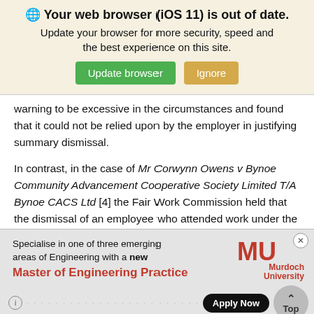[Figure (screenshot): Browser update notification banner with globe icon, title 'Your web browser (iOS 11) is out of date.', subtitle 'Update your browser for more security, speed and the best experience on this site.', green 'Update browser' button and tan 'Ignore' button.]
warning to be excessive in the circumstances and found that it could not be relied upon by the employer in justifying summary dismissal.
In contrast, in the case of Mr Corwynn Owens v Bynoe Community Advancement Cooperative Society Limited T/A Bynoe CACS Ltd [4] the Fair Work Commission held that the dismissal of an employee who attended work under the influence of alcohol was fair despite a flawed drug and alcohol
[Figure (screenshot): Murdoch University advertisement banner. Shows MU logo in red, text 'Specialise in one of three emerging areas of Engineering with a new Master of Engineering Practice' in red bold, with 'Apply Now' button and 'Top' circular button.]